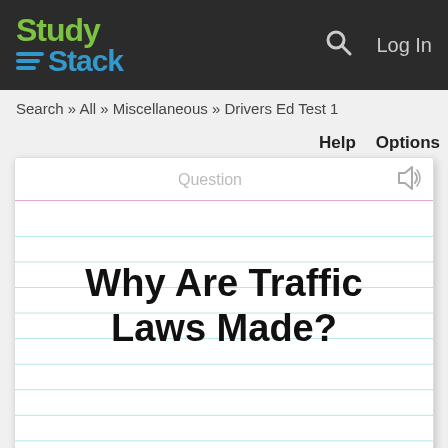StudyStack — Log In
Search » All » Miscellaneous » Drivers Ed Test 1
Help   Options
[Figure (screenshot): Flashcard showing the question 'Why Are Traffic Laws Made?' with 'Question' label at top, speaker icon, lined card background, and 'tap to flip' at bottom right]
tap to flip